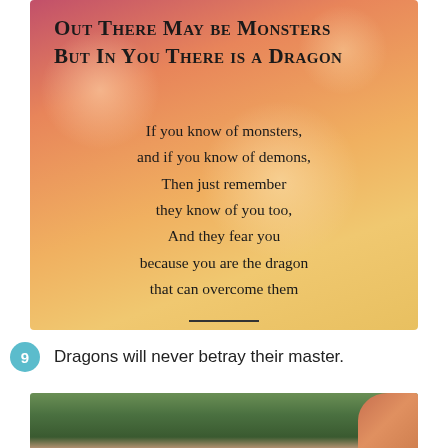[Figure (illustration): A poem card with a warm gradient background (red-orange-yellow bokeh effect). Title in small caps at top reads 'Out There May be Monsters But In You There is a Dragon'. Below is a poem body followed by a divider line and the author name 'Nikita Gill'.]
9  Dragons will never betray their master.
[Figure (photo): Partial bottom photo showing green foliage/trees and an orange/red circular element at the right edge.]